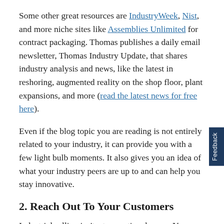Some other great resources are IndustryWeek, Nist, and more niche sites like Assemblies Unlimited for contract packaging. Thomas publishes a daily email newsletter, Thomas Industry Update, that shares industry analysis and news, like the latest in reshoring, augmented reality on the shop floor, plant expansions, and more (read the latest news for free here).
Even if the blog topic you are reading is not entirely related to your industry, it can provide you with a few light bulb moments. It also gives you an idea of what your industry peers are up to and can help you stay innovative.
2. Reach Out To Your Customers
Industrial selling isn't a transactional game. Your buyers go through a long, often complex process before you can seal the deal. Familiarize yourself with that process, and think about what content would help them move along to the